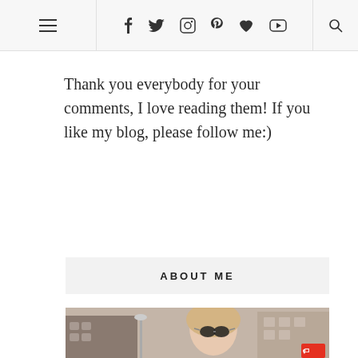≡  f  Twitter  Instagram  Pinterest  ♥  YouTube  🔍
Thank you everybody for your comments, I love reading them! If you like my blog, please follow me:)
ABOUT ME
[Figure (photo): A woman with blonde hair and round sunglasses standing on a city street with historic buildings in the background]